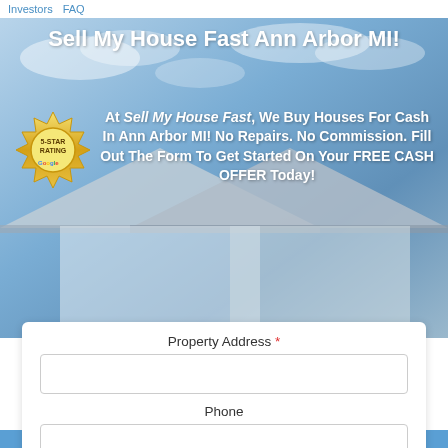Investors  FAQ
Sell My House Fast Ann Arbor MI!
[Figure (logo): Gold badge seal with '5-STAR RATING' text and Google logo]
At Sell My House Fast, We Buy Houses For Cash In Ann Arbor MI! No Repairs. No Commission. Fill Out The Form To Get Started On Your FREE CASH OFFER Today!
Property Address *
Phone